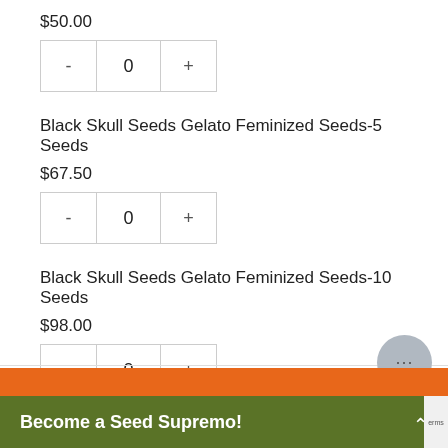$50.00
[Figure (other): Quantity selector with minus button, 0 value, and plus button]
Black Skull Seeds Gelato Feminized Seeds-5 Seeds
$67.50
[Figure (other): Quantity selector with minus button, 0 value, and plus button]
Black Skull Seeds Gelato Feminized Seeds-10 Seeds
$98.00
[Figure (other): Quantity selector with minus button, 0 value, and plus button]
Become a Seed Supremo!